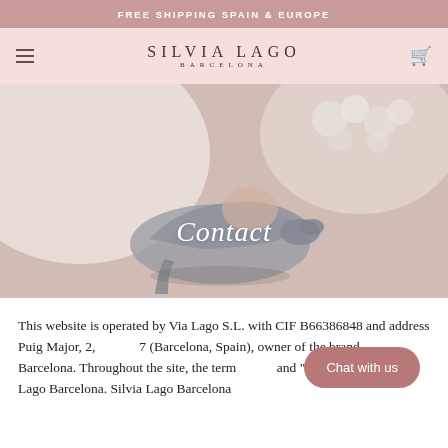FREE SHIPPING SPAIN & EUROPE
SILVIA LAGO BARCELONA
[Figure (photo): Hero image showing bridal high-heel shoes in grey/blue velvet with a wedding bouquet of white flowers in the background, washed out with soft light. Overlaid text says 'Contact'.]
This website is operated by Via Lago S.L. with CIF B66386848 and address Puig Major, 2, ... (Barcelona, Spain), owner of the brand ... Barcelona. Throughout the site, the terms ... and "our" refer to Silvia Lago Barcelona. Silvia Lago Barcelona